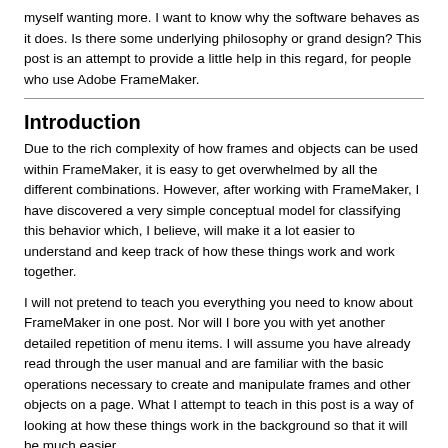myself wanting more. I want to know why the software behaves as it does. Is there some underlying philosophy or grand design? This post is an attempt to provide a little help in this regard, for people who use Adobe FrameMaker.
Introduction
Due to the rich complexity of how frames and objects can be used within FrameMaker, it is easy to get overwhelmed by all the different combinations. However, after working with FrameMaker, I have discovered a very simple conceptual model for classifying this behavior which, I believe, will make it a lot easier to understand and keep track of how these things work and work together.
I will not pretend to teach you everything you need to know about FrameMaker in one post. Nor will I bore you with yet another detailed repetition of menu items. I will assume you have already read through the user manual and are familiar with the basic operations necessary to create and manipulate frames and other objects on a page. What I attempt to teach in this post is a way of looking at how these things work in the background so that it will be much easier